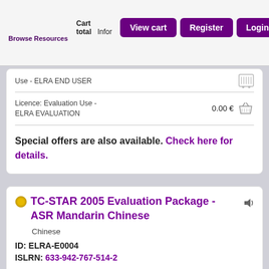Browse Resources  Cart total  Inform  View cart  Register  Login
Use - ELRA END USER
Licence: Evaluation Use - ELRA EVALUATION   0.00 €
Special offers are also available. Check here for details.
TC-STAR 2005 Evaluation Package - ASR Mandarin Chinese
Chinese
ID: ELRA-E0004
ISLRN: 633-942-767-514-2
TC-STAR is a European integrated project